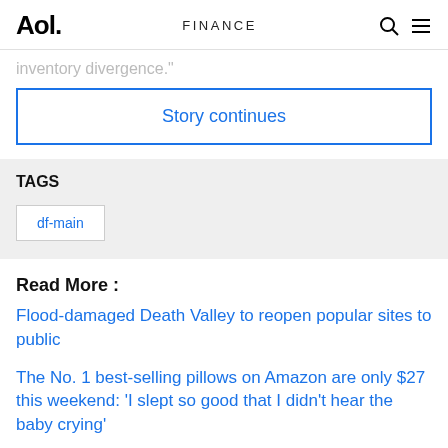Aol. FINANCE
inventory divergence."
Story continues
TAGS
df-main
Read More :
Flood-damaged Death Valley to reopen popular sites to public
The No. 1 best-selling pillows on Amazon are only $27 this weekend: 'I slept so good that I didn't hear the baby crying'
Pence says he didn't leave office with classified material